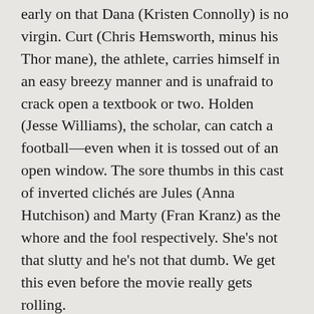early on that Dana (Kristen Connolly) is no virgin. Curt (Chris Hemsworth, minus his Thor mane), the athlete, carries himself in an easy breezy manner and is unafraid to crack open a textbook or two. Holden (Jesse Williams), the scholar, can catch a football—even when it is tossed out of an open window. The sore thumbs in this cast of inverted clichés are Jules (Anna Hutchison) and Marty (Fran Kranz) as the whore and the fool respectively. She's not that slutty and he's not that dumb. We get this even before the movie really gets rolling.
But we keep on watching because this film moves along real nice. Even though the constant cutting back and forth between the cabin and the industrial facility (where people are placing bets on various outcomes) prevents us from properly settling into the story, the filmmakers do enough to keep us interested.